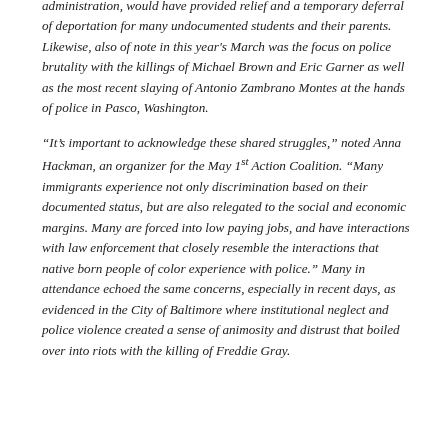administration, would have provided relief and a temporary deferral of deportation for many undocumented students and their parents. Likewise, also of note in this year's March was the focus on police brutality with the killings of Michael Brown and Eric Garner as well as the most recent slaying of Antonio Zambrano Montes at the hands of police in Pasco, Washington.
“It’s important to acknowledge these shared struggles,” noted Anna Hackman, an organizer for the May 1st Action Coalition. “Many immigrants experience not only discrimination based on their documented status, but are also relegated to the social and economic margins. Many are forced into low paying jobs, and have interactions with law enforcement that closely resemble the interactions that native born people of color experience with police.” Many in attendance echoed the same concerns, especially in recent days, as evidenced in the City of Baltimore where institutional neglect and police violence created a sense of animosity and distrust that boiled over into riots with the killing of Freddie Gray.